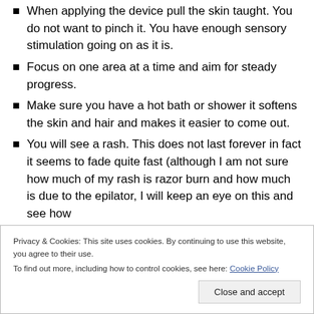When applying the device pull the skin taught. You do not want to pinch it. You have enough sensory stimulation going on as it is.
Focus on one area at a time and aim for steady progress.
Make sure you have a hot bath or shower it softens the skin and hair and makes it easier to come out.
You will see a rash. This does not last forever in fact it seems to fade quite fast (although I am not sure how much of my rash is razor burn and how much is due to the epilator, I will keep an eye on this and see how
Privacy & Cookies: This site uses cookies. By continuing to use this website, you agree to their use.
To find out more, including how to control cookies, see here: Cookie Policy
[Close and accept button]